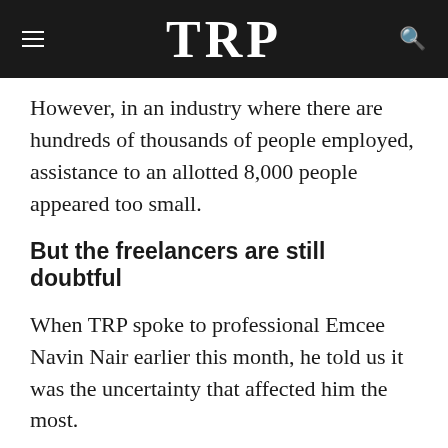TRP
However, in an industry where there are hundreds of thousands of people employed, assistance to an allotted 8,000 people appeared too small.
But the freelancers are still doubtful
When TRP spoke to professional Emcee Navin Nair earlier this month, he told us it was the uncertainty that affected him the most.
READ MORE: The Death Of Live Events – The National Covid-19 Recovery Plan That's Not For Everyone
And now with the announcement for relief, he still thinks it's hard to give his stand on it as there hasn't